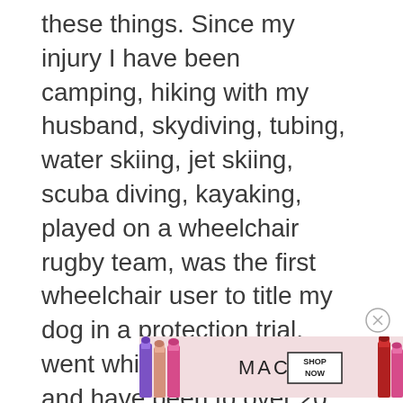these things. Since my injury I have been camping, hiking with my husband, skydiving, tubing, water skiing, jet skiing, scuba diving, kayaking, played on a wheelchair rugby team, was the first wheelchair user to title my dog in a protection trial, went white water rafting, and have been to over 20 new-to-us states. We take our dogs on 2-4-mile walks daily and we're planning on getting an adventure van to travel the US with. I do love adaption and bringing awareness to accessibility needs. I love finding new ways to still
[Figure (infographic): MAC cosmetics advertisement banner showing lipsticks on the left and right sides, MAC logo in the center, and a 'SHOP NOW' button box]